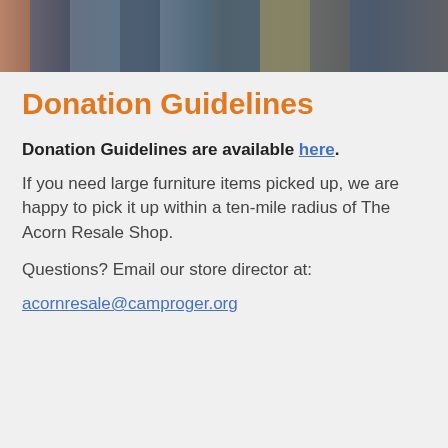[Figure (photo): A strip of hanging clothing items in various colors — brown, dark gray, blue, teal, olive — visible from the waist down on hangers.]
Donation Guidelines
Donation Guidelines are available here.
If you need large furniture items picked up, we are happy to pick it up within a ten-mile radius of The Acorn Resale Shop.
Questions? Email our store director at:
acornresale@camproger.org